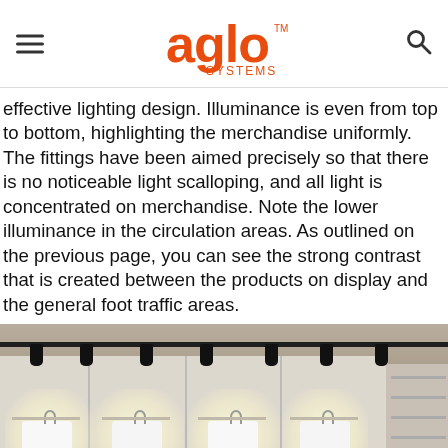[Figure (logo): Aglo Systems logo in orange with hamburger menu icon on left and search icon on right]
effective lighting design. Illuminance is even from top to bottom, highlighting the merchandise uniformly. The fittings have been aimed precisely so that there is no noticeable light scalloping, and all light is concentrated on merchandise. Note the lower illuminance in the circulation areas. As outlined on the previous page, you can see the strong contrast that is created between the products on display and the general foot traffic areas.
[Figure (photo): Retail clothing store interior with track lighting on ceiling illuminating white garments displayed on rack panels against a wall, with shelving on the right side. A reCAPTCHA privacy badge is visible in the bottom right corner.]